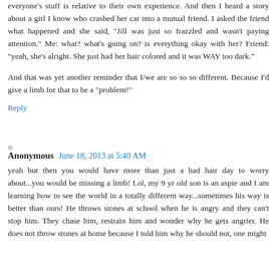everyone's stuff is relative to their own experience. And then I heard a story about a girl I know who crashed her car into a mutual friend. I asked the friend what happened and she said, "Jill was just so frazzled and wasn't paying attention." Me: what? what's going on? is everything okay with her? Friend: "yeah, she's alright. She just had her hair colored and it was WAY too dark."
And that was yet another reminder that I/we are so so so different. Because I'd give a limb for that to be a "problem!"
Reply
Anonymous June 18, 2013 at 5:40 AM
yeah but then you would have more than just a bad hair day to worry about...you would be missing a limb! Lol, my 9 yr old son is an aspie and I am learning how to see the world in a totally different way...sometimes his way is better than ours! He throws stones at school when he is angry and they can't stop him. They chase him, restrain him and wonder why he gets angrier. He does not throw stones at home because I told him why he should not, one might